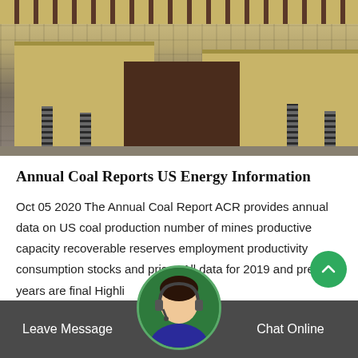[Figure (photo): Industrial mining/crushing machinery with yellow painted metal frames, coil springs, and gear teeth, photographed in an industrial setting]
Annual Coal Reports US Energy Information
Oct 05 2020 The Annual Coal Report ACR provides annual data on US coal production number of mines productive capacity recoverable reserves employment productivity consumption stocks and prices All data for 2019 and previous years are final Highli
Leave Message   Chat Online